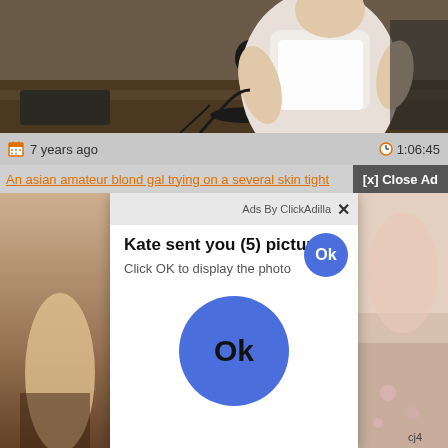[Figure (screenshot): Webcam video screenshot showing a person at a desk with a microphone]
7 years ago   1:06:45
An asian amateur blond gal trying on a several skin tight
[x] Close Ad
[Figure (screenshot): Two partial video thumbnails on left and right sides with a popup ad overlay in the center]
Ads By ClickAdilla  ×
Kate sent you (5) pictures
Click OK to display the photo
Ok
Ok
cj4